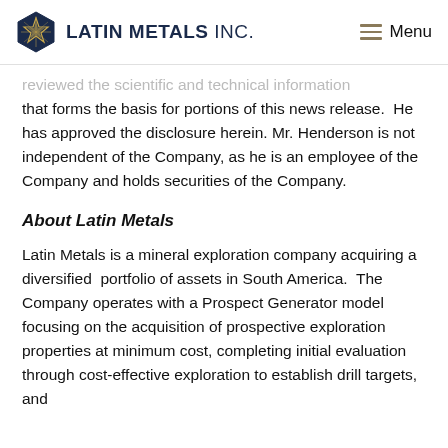LATIN METALS INC. Menu
reviewed the scientific and technical information that forms the basis for portions of this news release.  He has approved the disclosure herein.  Mr. Henderson is not independent of the Company, as he is an employee of the Company and holds securities of the Company.
About Latin Metals
Latin Metals is a mineral exploration company acquiring a diversified portfolio of assets in South America.  The Company operates with a Prospect Generator model focusing on the acquisition of prospective exploration properties at minimum cost, completing initial evaluation through cost-effective exploration to establish drill targets, and